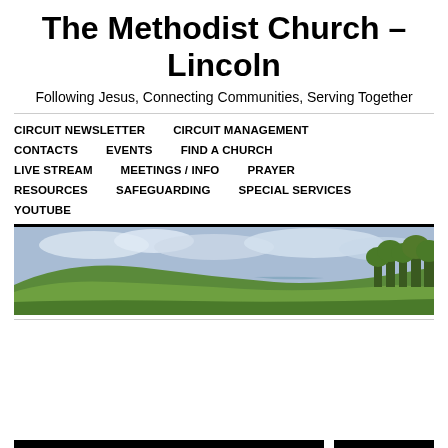The Methodist Church – Lincoln
Following Jesus, Connecting Communities, Serving Together
CIRCUIT NEWSLETTER
CIRCUIT MANAGEMENT
CONTACTS
EVENTS
FIND A CHURCH
LIVE STREAM
MEETINGS / INFO
PRAYER
RESOURCES
SAFEGUARDING
SPECIAL SERVICES
YOUTUBE
[Figure (photo): Panoramic landscape photo of green rolling fields under a partly cloudy sky with trees on the right side.]